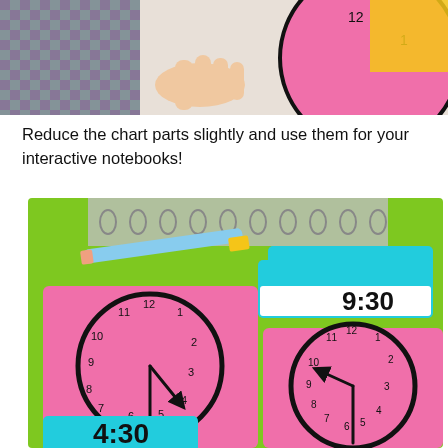[Figure (photo): Photo of a hand holding clock chart parts near a large pink circle clock with numbers, with colorful school supplies in background]
Reduce the chart parts slightly and use them for your interactive notebooks!
[Figure (photo): Photo of pink clock face cards with clock hands showing 4:30 and another clock, cyan/teal label cards showing '4:30' and '9:30', placed on a green spiral notebook with a pencil]